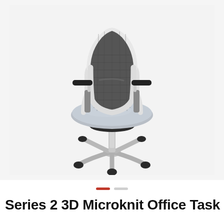[Figure (photo): A modern ergonomic office task chair with dark gray 3D microknit mesh back, light gray upholstered seat, white and silver frame, black adjustable armrests, a 5-star silver/white base with black casters, and a silver pneumatic column. The chair is shown at a slight angle on a light gray background.]
Series 2 3D Microknit Office Task